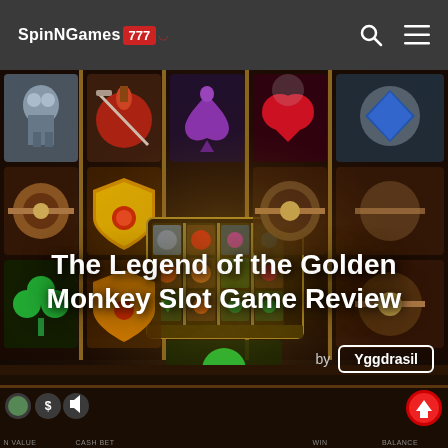SpinNGames 777
[Figure (screenshot): Screenshot of 'The Legend of the Golden Monkey' slot game by Yggdrasil, showing a 5-reel slot machine with ornate symbols including playing card suits (spades, hearts, diamonds, clubs), a robot/golem character, potion bottles, shields, and spinners on a dark fantasy-themed background. A mini slot grid overlay is visible in the center.]
The Legend of the Golden Monkey Slot Game Review
by Yggdrasil